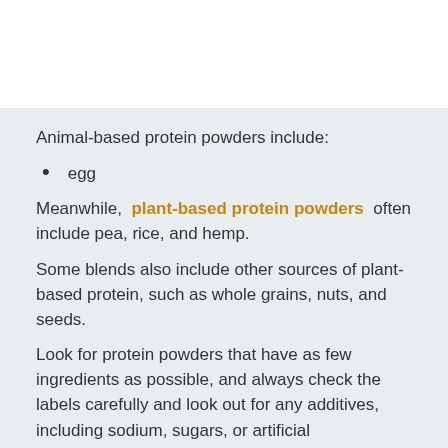Animal-based protein powders include:
egg
Meanwhile, plant-based protein powders often include pea, rice, and hemp.
Some blends also include other sources of plant-based protein, such as whole grains, nuts, and seeds.
Look for protein powders that have as few ingredients as possible, and always check the labels carefully and look out for any additives, including sodium, sugars, or artificial